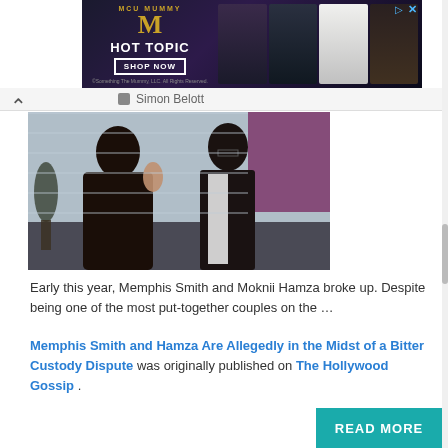[Figure (screenshot): Hot Topic advertisement banner featuring The Mummy merchandise with dark background, logo, and product images]
Simon Belott
[Figure (photo): Memphis Smith and Moknii Hamza seated on a couch during a TV interview; woman in black dress gesturing, man in black vest and white shirt]
Early this year, Memphis Smith and Moknii Hamza broke up. Despite being one of the most put-together couples on the …
Memphis Smith and Hamza Are Allegedly in the Midst of a Bitter Custody Dispute was originally published on The Hollywood Gossip .
[Figure (screenshot): READ MORE button in teal color]